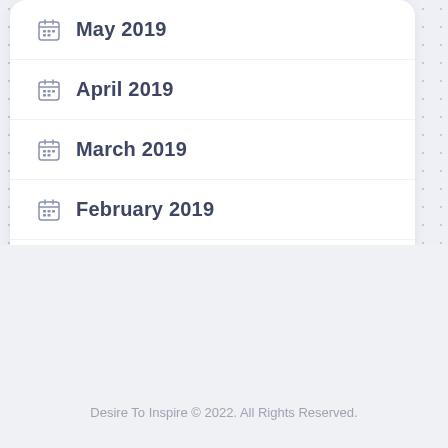May 2019
April 2019
March 2019
February 2019
January 2019
[Figure (illustration): Chevron up arrow icon button for scroll to top]
Desire To Inspire © 2022. All Rights Reserved.